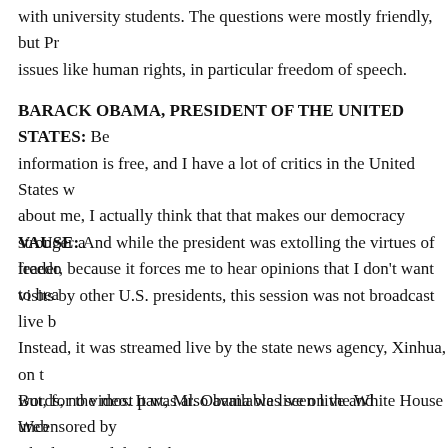with university students. The questions were mostly friendly, but Pr issues like human rights, in particular freedom of speech.
BARACK OBAMA, PRESIDENT OF THE UNITED STATES: Be information is free, and I have a lot of critics in the United States w about me, I actually think that that makes our democracy stronger a leader, because it forces me to hear opinions that I don't want to hea
VAUSE: And while the president was extolling the virtues of freedo visits by other U.S. presidents, this session was not broadcast live b Instead, it was streamed live by the state news agency, Xinhua, on t words, no video. It was also available live on the White House Web Chinese translation.
But, for the most part, Mr. Obama was seen live and uncensored by people on mainland China.